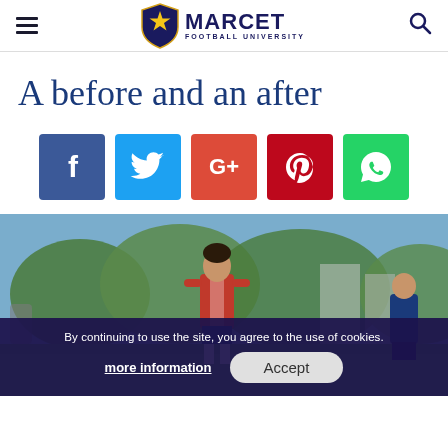≡ MARCET FOOTBALL UNIVERSITY 🔍
A before and an after
[Figure (other): Row of five social media share buttons: Facebook (blue), Twitter (cyan), Google+ (red-orange), Pinterest (dark red), WhatsApp (green)]
[Figure (photo): A football player in a red and blue jersey on a grass pitch with trees and buildings in the background. Another player in blue is visible on the right.]
By continuing to use the site, you agree to the use of cookies.
more information   Accept